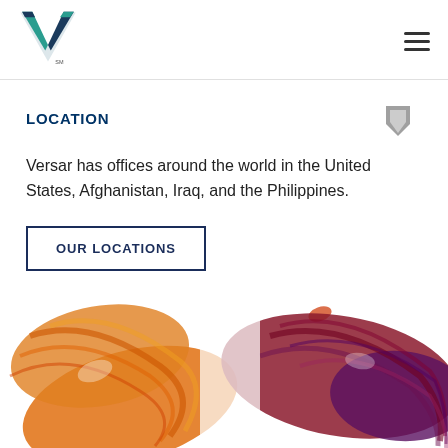[Figure (logo): Versar logo — teal and dark blue V chevron mark with 'SM' superscript]
LOCATION
Versar has offices around the world in the United States, Afghanistan, Iraq, and the Philippines.
OUR LOCATIONS
[Figure (map): Artistic illustrated world map with orange/red Americas on left and red/purple Europe/Asia on right, rendered in a painterly sketch style on white background]